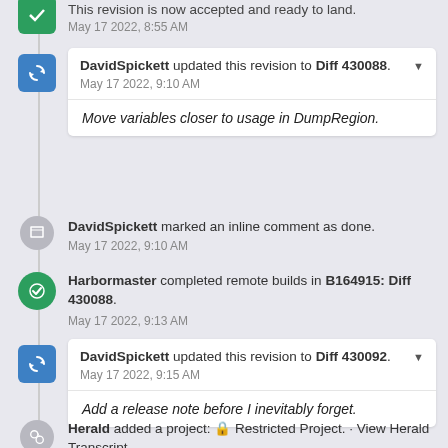This revision is now accepted and ready to land.
May 17 2022, 8:55 AM
DavidSpickett updated this revision to Diff 430088.
May 17 2022, 9:10 AM
Move variables closer to usage in DumpRegion.
DavidSpickett marked an inline comment as done.
May 17 2022, 9:10 AM
Harbormaster completed remote builds in B164915: Diff 430088.
May 17 2022, 9:13 AM
DavidSpickett updated this revision to Diff 430092.
May 17 2022, 9:15 AM
Add a release note before I inevitably forget.
Herald added a project: Restricted Project. · View Herald Transcript